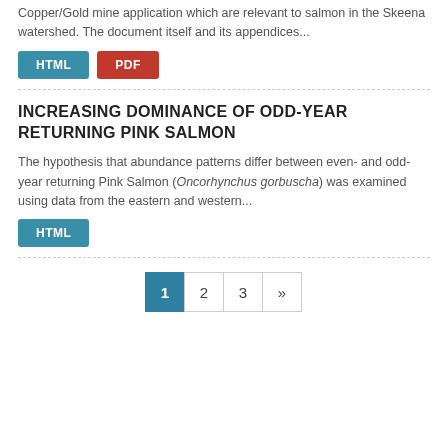Copper/Gold mine application which are relevant to salmon in the Skeena watershed. The document itself and its appendices...
HTML
PDF
INCREASING DOMINANCE OF ODD-YEAR RETURNING PINK SALMON
The hypothesis that abundance patterns differ between even- and odd-year returning Pink Salmon (Oncorhynchus gorbuscha) was examined using data from the eastern and western...
HTML
1 2 3 »